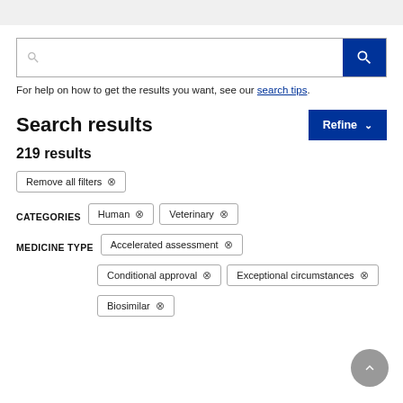[Figure (screenshot): Search input box with magnifying glass icon on left and blue search button on right]
For help on how to get the results you want, see our search tips.
Search results
219 results
Remove all filters ×
CATEGORIES  Human ×  Veterinary ×
MEDICINE TYPE  Accelerated assessment ×
Conditional approval ×  Exceptional circumstances ×
Biosimilar ×